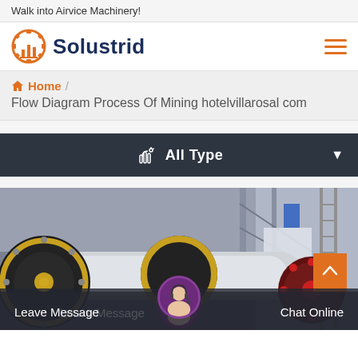Walk into Airvice Machinery!
[Figure (logo): Solustrid logo with orange gear/building icon and dark blue text]
Home / Flow Diagram Process Of Mining hotelvillarosal com
All Type
[Figure (photo): Industrial mining machinery with large rollers and wheels in a factory setting]
Leave Message
Chat Online